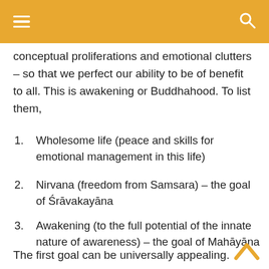≡  🔍
conceptual proliferations and emotional clutters – so that we perfect our ability to be of benefit to all. This is awakening or Buddhahood. To list them,
1. Wholesome life (peace and skills for emotional management in this life)
2. Nirvana (freedom from Samsara) – the goal of Śrāvakayāna
3. Awakening (to the full potential of the innate nature of awareness) – the goal of Mahāyāna
The first goal can be universally appealing.